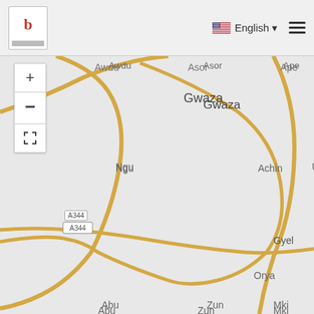b | English | menu
[Figure (map): Web map showing a region with place names: Awdu, Asor, Ape, Gwaza, Ngu, Udoo, Achin, m, Gyel, Orya, Abu, Zun, Mki, Kputu, Chia, with road A344 marked and yellow roads visible. Map controls include zoom in (+), zoom out (-), and fullscreen button.]